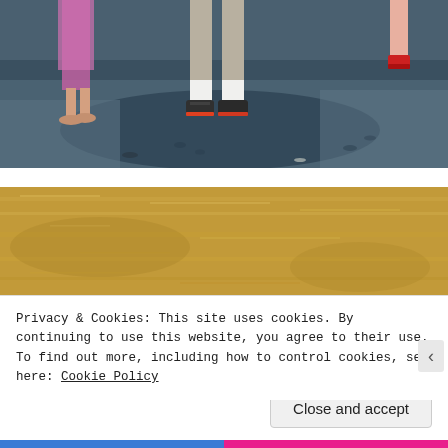[Figure (photo): Beach scene showing lower bodies/feet of people standing on sand, with shadows and footprints visible]
[Figure (photo): Close-up of dry golden-brown grass or straw ground cover]
Privacy & Cookies: This site uses cookies. By continuing to use this website, you agree to their use.
To find out more, including how to control cookies, see here: Cookie Policy
Close and accept